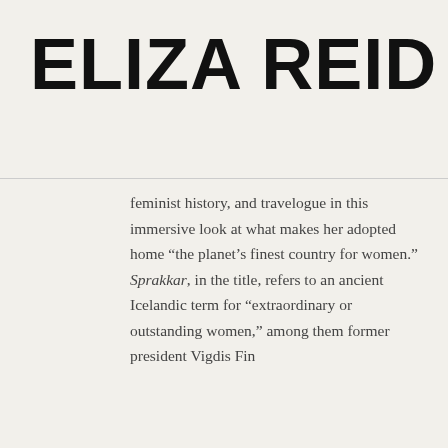ELIZA REID
feminist history, and travelogue in this immersive look at what makes her adopted home “the planet’s finest country for women.” Sprakkar, in the title, refers to an ancient Icelandic term for “extraordinary or outstanding women,” among them former president Vigdis Finnbogadóttir…